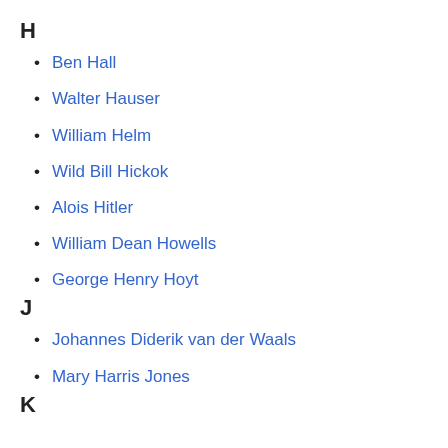H
Ben Hall
Walter Hauser
William Helm
Wild Bill Hickok
Alois Hitler
William Dean Howells
George Henry Hoyt
J
Johannes Diderik van der Waals
Mary Harris Jones
K